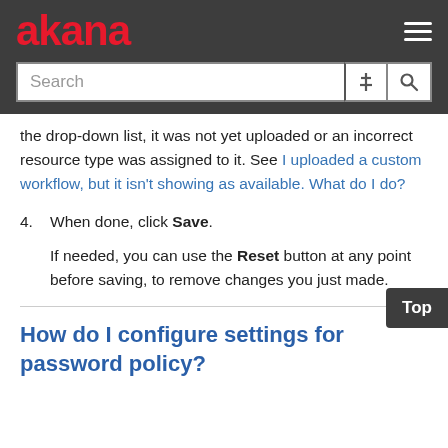[Figure (logo): Akana logo in red text on dark gray header bar]
[Figure (screenshot): Search bar with filter and search icons on dark gray background]
the drop-down list, it was not yet uploaded or an incorrect resource type was assigned to it. See I uploaded a custom workflow, but it isn't showing as available. What do I do?
4. When done, click Save.
If needed, you can use the Reset button at any point before saving, to remove changes you just made.
How do I configure settings for password policy?